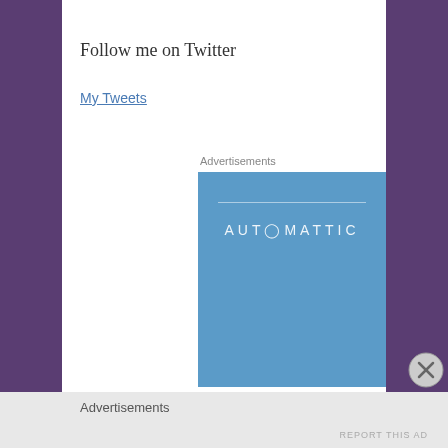Follow me on Twitter
My Tweets
Advertisements
[Figure (logo): Automattic advertisement banner — blue rectangle with white horizontal line and AUTOMATTIC text in spaced caps]
[Figure (other): Close/dismiss button — circle with X]
Advertisements
REPORT THIS AD